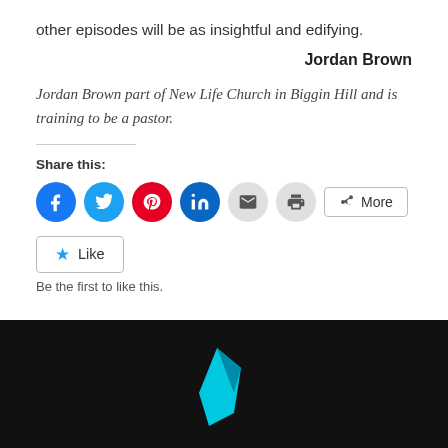other episodes will be as insightful and edifying.
Jordan Brown
Jordan Brown part of New Life Church in Biggin Hill and is training to be a pastor.
Share this:
[Figure (infographic): Row of social share buttons: Facebook (blue circle), Twitter (light blue circle), Pinterest (red circle), LinkedIn (dark blue circle), Email (grey circle), Print (grey circle), and a More button with share icon.]
[Figure (infographic): Like button with blue star icon and text 'Like', below it text 'Be the first to like this.']
[Figure (logo): Black footer bar with a cyan/blue geometric logo shape centered.]